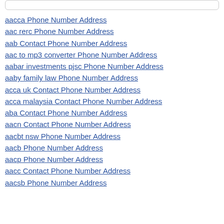aacca Phone Number Address
aac rerc Phone Number Address
aab Contact Phone Number Address
aac to mp3 converter Phone Number Address
aabar investments pjsc Phone Number Address
aaby family law Phone Number Address
acca uk Contact Phone Number Address
acca malaysia Contact Phone Number Address
aba Contact Phone Number Address
aacn Contact Phone Number Address
aacbt nsw Phone Number Address
aacb Phone Number Address
aacp Phone Number Address
aacc Contact Phone Number Address
aacsb Phone Number Address